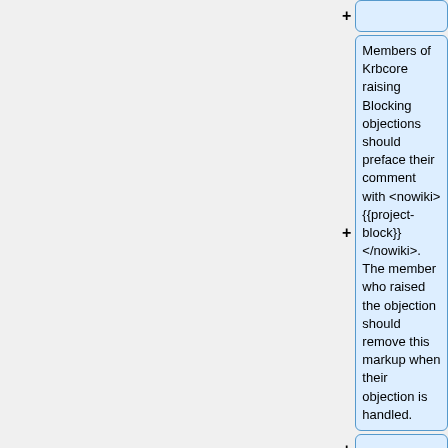(empty box top)
Members of Krbcore raising Blocking objections should preface their comment with <nowiki>{{project-block}}</nowiki>. The member who raised the objection should remove this markup when their objection is handled.
(empty box)
===Approvals===
(empty box)
ghudson, 2009-03-23
(empty box)
===Discussion===